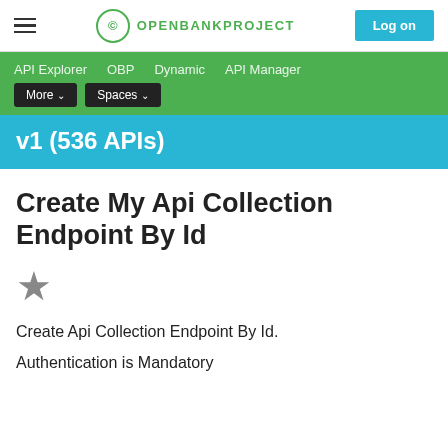OPENBANKPROJECT | Log on
API Explorer  OBP  Dynamic  API Manager  More  Spaces
v1 (536 APIs)
Create My Api Collection Endpoint By Id
★
Create Api Collection Endpoint By Id.
Authentication is Mandatory